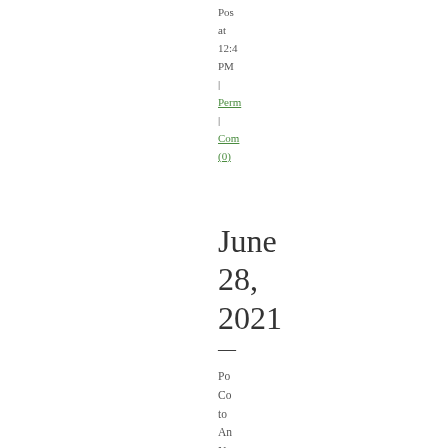Posted at 12:4 PM | Perm | Comments (0)
June 28, 2021
Po Co to An No Ne to Rio — the Gu We Sh